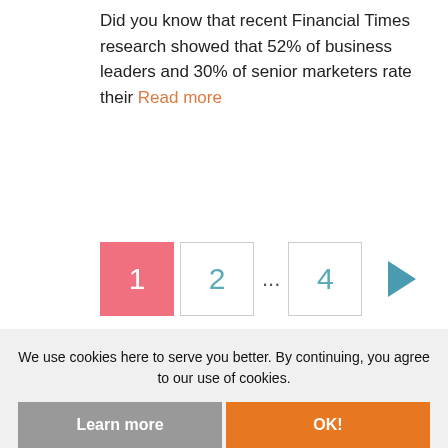Did you know that recent Financial Times research showed that 52% of business leaders and 30% of senior marketers rate their Read more
[Figure (other): Pagination navigation with pages 1 (active, pink), 2, ellipsis, 4, and a right arrow]
SUBSCRIBE TO EMAIL UPDATES
We use cookies here to serve you better. By continuing, you agree to our use of cookies.
Learn more
OK!